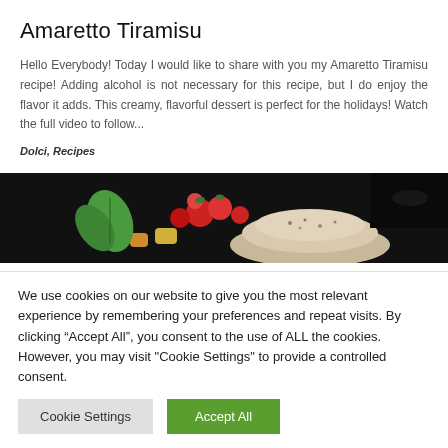Amaretto Tiramisu
Hello Everybody! Today I would like to share with you my Amaretto Tiramisu recipe! Adding alcohol is not necessary for this recipe, but I do enjoy the flavor it adds. This creamy, flavorful dessert is perfect for the holidays! Watch the full video to follow...
Dolci, Recipes
[Figure (photo): Close-up photo of a dessert plate with tiramisu, red berries, yellow fruit pieces, and green mint leaves on a dark background.]
We use cookies on our website to give you the most relevant experience by remembering your preferences and repeat visits. By clicking “Accept All”, you consent to the use of ALL the cookies. However, you may visit "Cookie Settings" to provide a controlled consent.